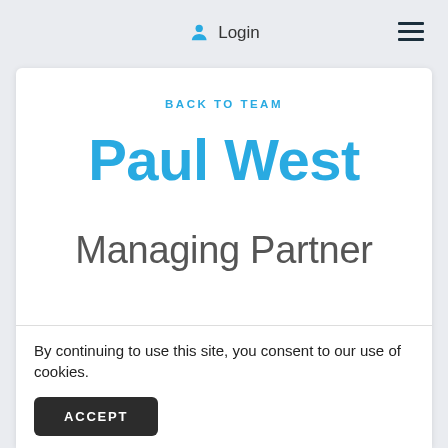Login
BACK TO TEAM
Paul West
Managing Partner
Having built countless relationships with individuals and families all over the country, Paul holds the
By continuing to use this site, you consent to our use of cookies.
ACCEPT